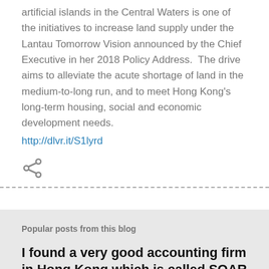artificial islands in the Central Waters is one of the initiatives to increase land supply under the Lantau Tomorrow Vision announced by the Chief Executive in her 2018 Policy Address.  The drive aims to alleviate the acute shortage of land in the medium-to-long run, and to meet Hong Kong's long-term housing, social and economic development needs.
http://dlvr.it/S1lyrd
[Figure (other): Share icon (less-than shaped arrow icon indicating sharing)]
Popular posts from this blog
I found a very good accounting firm in Hong Kong which is called SOAR HARVEST.
October 27, 2018